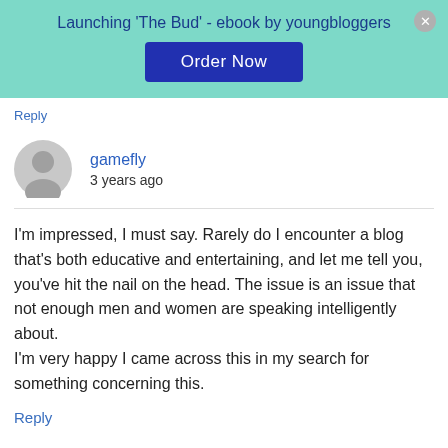Launching 'The Bud' - ebook by youngbloggers
Order Now
Reply
gamefly
3 years ago
I'm impressed, I must say. Rarely do I encounter a blog that's both educative and entertaining, and let me tell you, you've hit the nail on the head. The issue is an issue that not enough men and women are speaking intelligently about.
I'm very happy I came across this in my search for something concerning this.
Reply